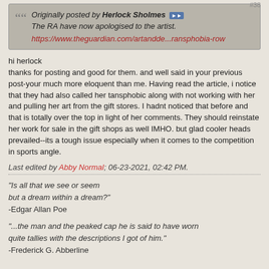#38
Originally posted by Herlock Sholmes [>>]
The RA have now apologised to the artist.
https://www.theguardian.com/artandde...ransphobia-row
hi herlock
thanks for posting and good for them. and well said in your previous post-your much more eloquent than me. Having read the article, i notice that they had also called her tansphobic along with not working with her and pulling her art from the gift stores. I hadnt noticed that before and that is totally over the top in light of her comments. They should reinstate her work for sale in the gift shops as well IMHO. but glad cooler heads prevailed--its a tough issue especially when it comes to the competition in sports angle.
Last edited by Abby Normal; 06-23-2021, 02:42 PM.
"Is all that we see or seem
but a dream within a dream?"
-Edgar Allan Poe
"...the man and the peaked cap he is said to have worn quite tallies with the descriptions I got of him."
-Frederick G. Abberline